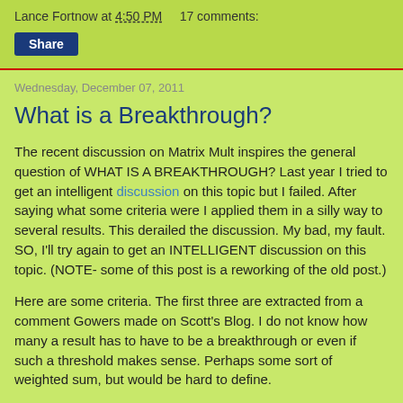Lance Fortnow at 4:50 PM    17 comments:
Share
Wednesday, December 07, 2011
What is a Breakthrough?
The recent discussion on Matrix Mult inspires the general question of WHAT IS A BREAKTHROUGH? Last year I tried to get an intelligent discussion on this topic but I failed. After saying what some criteria were I applied them in a silly way to several results. This derailed the discussion. My bad, my fault. SO, I'll try again to get an INTELLIGENT discussion on this topic. (NOTE- some of this post is a reworking of the old post.)
Here are some criteria. The first three are extracted from a comment Gowers made on Scott's Blog. I do not know how many a result has to have to be a breakthrough or even if such a threshold makes sense. Perhaps some sort of weighted sum, but would be hard to define.